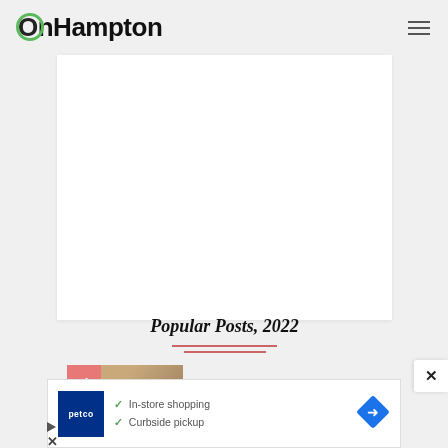OnHampton
[Figure (other): Large white rectangle content area, presumably an ad or image placeholder]
Popular Posts, 2022
[Figure (photo): Thumbnail image with number 4 badge and a food/bakery photo]
[Figure (screenshot): Petco advertisement banner showing In-store shopping and Curbside pickup with navigation icon]